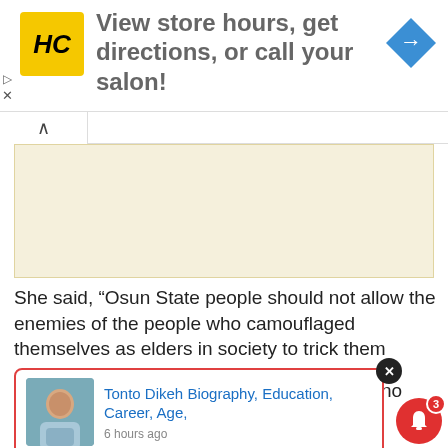[Figure (other): Advertisement banner with HC (Hair Club) logo in yellow square, text 'View store hours, get directions, or call your salon!' and a blue diamond map/directions icon on the right. Play and X controls on the left edge.]
[Figure (other): Collapsed accordion section with upward chevron button on left, and a beige/tan colored advertisement placeholder area below.]
She said, “Osun State people should not allow the enemies of the people who camouflaged themselves as elders in society to trick them again.
“Osun State people are wiser now and can no longer be [partially obscured] ow know that [partially obscured] nd Sen. [partially obscured] orward positively in economic prosperity, statewide security
[Figure (other): Popup notification card with thumbnail photo of Tonto Dikeh (woman in light blue outfit), blue link text 'Tonto Dikeh Biography, Education, Career, Age,' and timestamp '6 hours ago'. Card has red border. An X close button (dark circle) appears at top right of card.]
[Figure (other): Red bell notification icon with badge showing number 3, positioned at bottom right.]